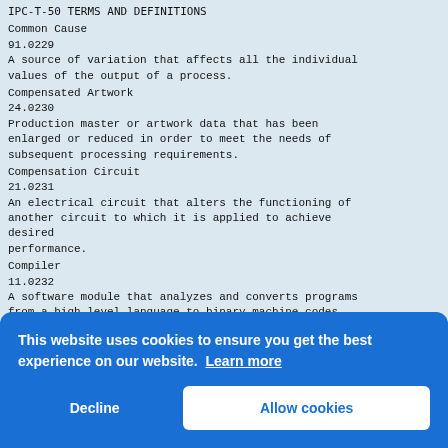IPC-T-50 TERMS AND DEFINITIONS
Common Cause
91.0229
A source of variation that affects all the individual values of the output of a process.
Compensated Artwork
24.0230
Production master or artwork data that has been enlarged or reduced in order to meet the needs of subsequent processing requirements.
Compensation Circuit
21.0231
An electrical circuit that alters the functioning of another circuit to which it is applied to achieve desired performance.
Compiler
11.0232
A software module that analyzes and converts programs from a high-level language to binary machine codes.
Complex Ion
76.0...
An i... are ...
Comp...
74.0...
A bo... defo... the ... lead...
Comp...
30.0...
An individual part or combination of parts that, when
[Figure (screenshot): Cookie consent banner with blue background. Text: 'This website uses cookies to ensure you get the best experience on our website. Learn more'. Two buttons: 'Decline' and 'Allow cookies'.]